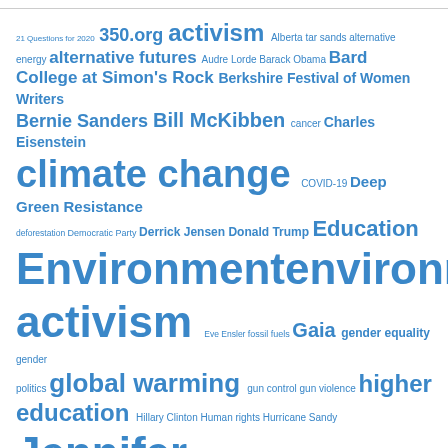[Figure (other): Tag cloud with terms related to environmental activism, climate change, politics, and education, rendered in various font sizes in blue color. Terms include: 21 Questions for 2020, 350.org, activism, Alberta tar sands, alternative energy, alternative futures, Audre Lorde, Barack Obama, Bard College at Simon's Rock, Berkshire Festival of Women Writers, Bernie Sanders, Bill McKibben, cancer, Charles Eisenstein, climate change, COVID-19, Deep Green Resistance, deforestation, Democratic Party, Derrick Jensen, Donald Trump, Education, Environment, environmental activism, Eve Ensler, fossil fuels, Gaia, gender equality, gender politics, global warming, gun control, gun violence, higher education, Hillary Clinton, Human rights, Hurricane Sandy, Jennifer Browdy, Joanna Macy, Keystone XL pipeline, leadership, love]